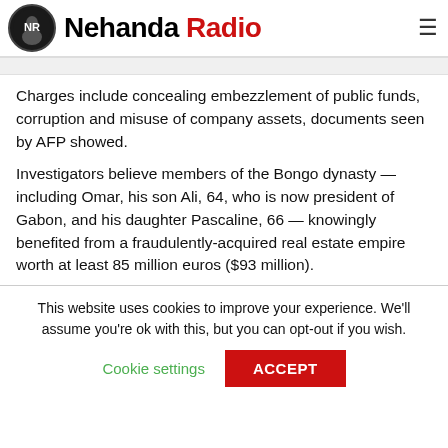Nehanda Radio
Charges include concealing embezzlement of public funds, corruption and misuse of company assets, documents seen by AFP showed.
Investigators believe members of the Bongo dynasty — including Omar, his son Ali, 64, who is now president of Gabon, and his daughter Pascaline, 66 — knowingly benefited from a fraudulently-acquired real estate empire worth at least 85 million euros ($93 million).
This website uses cookies to improve your experience. We'll assume you're ok with this, but you can opt-out if you wish.
Cookie settings  ACCEPT